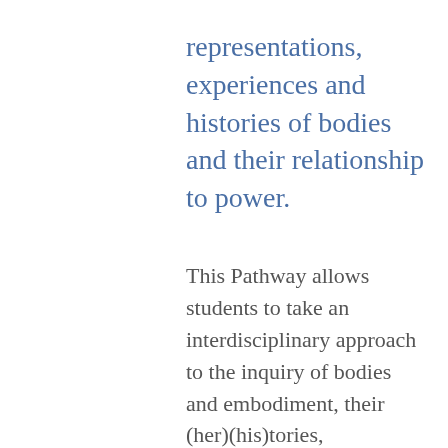representations, experiences and histories of bodies and their relationship to power.
This Pathway allows students to take an interdisciplinary approach to the inquiry of bodies and embodiment, their (her)(his)tories, frameworks, practices and methodologies. We will explore diverse and potentially contradictory definitions, narratives, representations, experiences, histories of body and what and who counts as a body